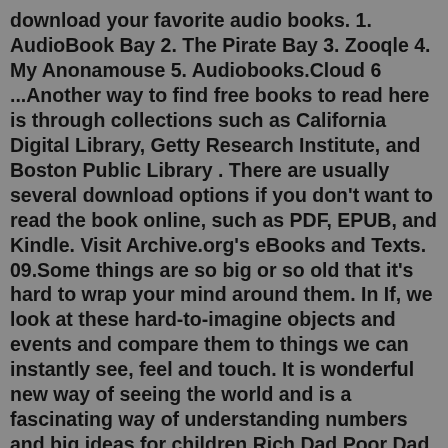download your favorite audio books. 1. AudioBook Bay 2. The Pirate Bay 3. Zooqle 4. My Anonamouse 5. Audiobooks.Cloud 6 ...Another way to find free books to read here is through collections such as California Digital Library, Getty Research Institute, and Boston Public Library . There are usually several download options if you don't want to read the book online, such as PDF, EPUB, and Kindle. Visit Archive.org's eBooks and Texts. 09.Some things are so big or so old that it's hard to wrap your mind around them. In If, we look at these hard-to-imagine objects and events and compare them to things we can instantly see, feel and touch. It is wonderful new way of seeing the world and is a fascinating way of understanding numbers and big ideas for children.Rich Dad Poor Dad Summary. "There is a difference between being poor and being broke. Broke is temporary. Poor is eternal.". "Money comes and goes, but if you have the education about how money works, you gain power over it and can begin building wealth.". "People's